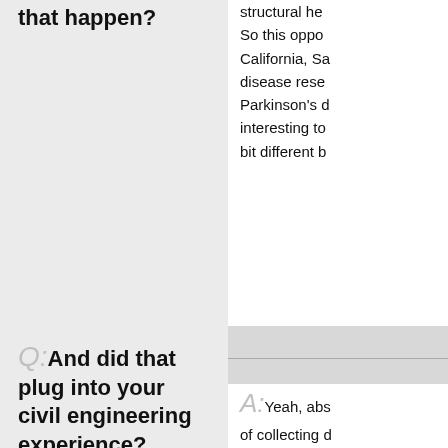that happen?
structural he... So this oppo... California, Sa... disease rese... Parkinson's d... interesting to... bit different b...
Q: And did that plug into your civil engineering experience?
A: Yeah, abs... of collecting ... within engine... machine lear... structures, d...